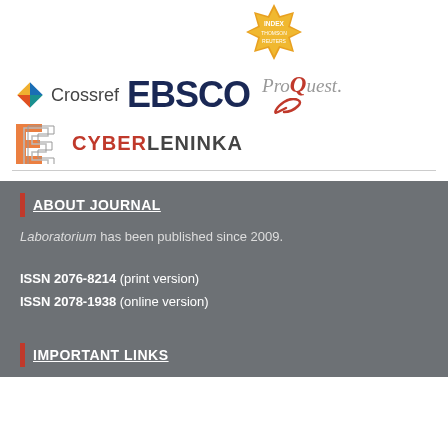[Figure (logo): Thomson Reuters index badge (orange seal) at top center]
[Figure (logo): Crossref, EBSCO, and ProQuest logos in a row]
[Figure (logo): CyberLeninka logo with stylized E icon and CYBERLENINKA text]
ABOUT JOURNAL
Laboratorium has been published since 2009.
ISSN 2076-8214 (print version)
ISSN 2078-1938 (online version)
IMPORTANT LINKS